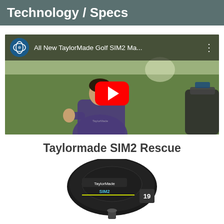Technology / Specs
[Figure (screenshot): YouTube video thumbnail showing a man in a purple TaylorMade shirt outdoors on a golf course, with a red YouTube play button in the center. The video title reads 'All New TaylorMade Golf SIM2 Ma...' with the globalgolf channel logo.]
Taylormade SIM2 Rescue
[Figure (photo): Photo of a TaylorMade SIM2 Rescue golf club head viewed from above, showing the black club head with TaylorMade branding and loft number markings.]